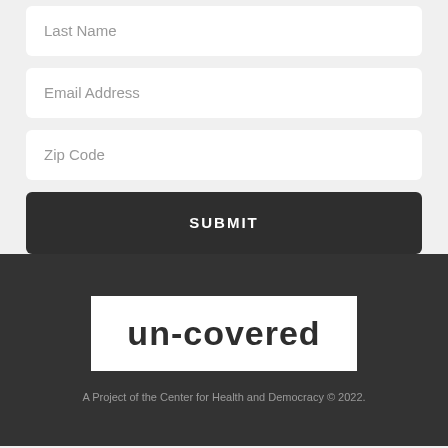Last Name
Email Address
Zip Code
SUBMIT
[Figure (logo): un-covered logo: white rectangle with bold dark text reading 'un-covered']
A Project of the Center for Health and Democracy © 2022.